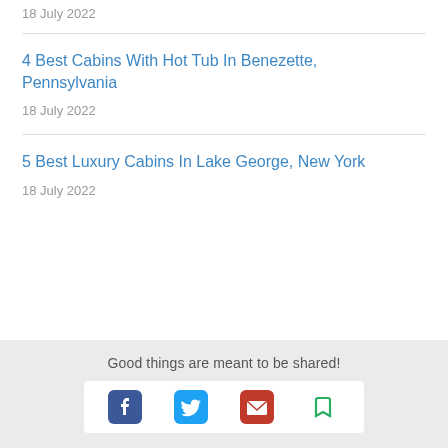4 Best Cabins With Hot Tub In Benezette, Pennsylvania
18 July 2022
5 Best Luxury Cabins In Lake George, New York
18 July 2022
Good things are meant to be shared!
[Figure (infographic): Social sharing icons: Facebook (blue), Twitter (blue), Email (red envelope), Bookmark (green)]